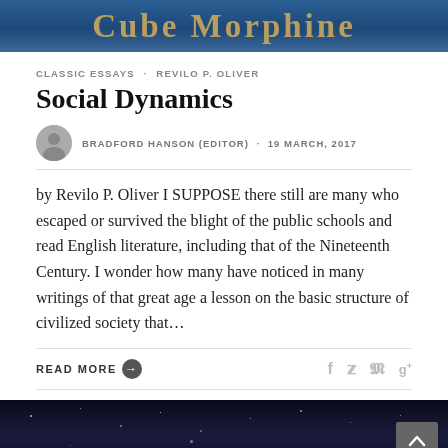[Figure (photo): Partial view of a book or banner with gold serif text on a blue background reading 'Cube Morphine' (partially visible)]
CLASSIC ESSAYS · REVILO P. OLIVER
Social Dynamics
BRADFORD HANSON (EDITOR) · 19 MARCH, 2017
by Revilo P. Oliver I SUPPOSE there still are many who escaped or survived the blight of the public schools and read English literature, including that of the Nineteenth Century. I wonder how many have noticed in many writings of that great age a lesson on the basic structure of civilized society that…
READ MORE
[Figure (photo): Night sky with stars on dark blue/black background, with a grey back-to-top arrow button in the bottom right corner]